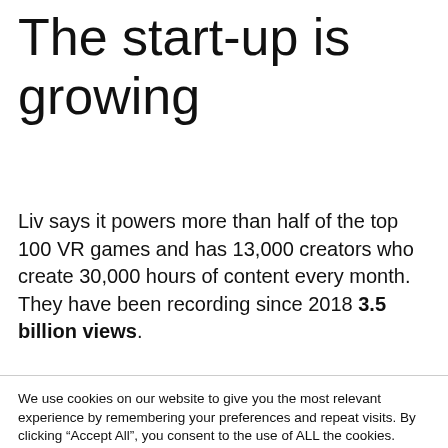The start-up is growing
Liv says it powers more than half of the top 100 VR games and has 13,000 creators who create 30,000 hours of content every month. They have been recording since 2018 3.5 billion views.
We use cookies on our website to give you the most relevant experience by remembering your preferences and repeat visits. By clicking “Accept All”, you consent to the use of ALL the cookies. However, you may visit "Cookie Settings" to provide a controlled consent.